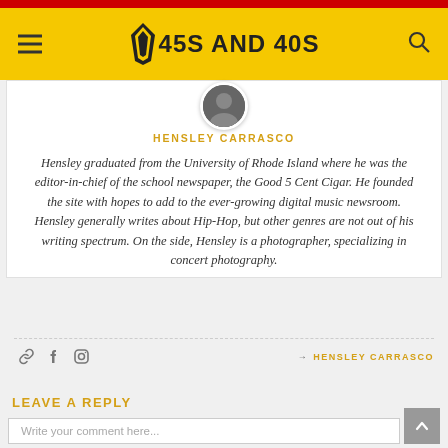45S AND 40S
HENSLEY CARRASCO
Hensley graduated from the University of Rhode Island where he was the editor-in-chief of the school newspaper, the Good 5 Cent Cigar. He founded the site with hopes to add to the ever-growing digital music newsroom. Hensley generally writes about Hip-Hop, but other genres are not out of his writing spectrum. On the side, Hensley is a photographer, specializing in concert photography.
→ HENSLEY CARRASCO
LEAVE A REPLY
Write your comment here...